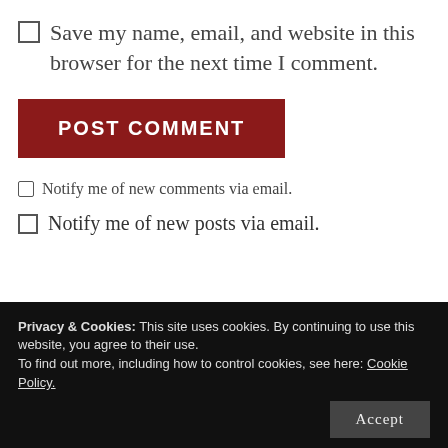☐ Save my name, email, and website in this browser for the next time I comment.
[Figure (other): POST COMMENT button — dark red/crimson rectangular button with white bold uppercase text]
☐ Notify me of new comments via email.
☐ Notify me of new posts via email.
Privacy & Cookies: This site uses cookies. By continuing to use this website, you agree to their use.
To find out more, including how to control cookies, see here: Cookie Policy.
from the great congregation.